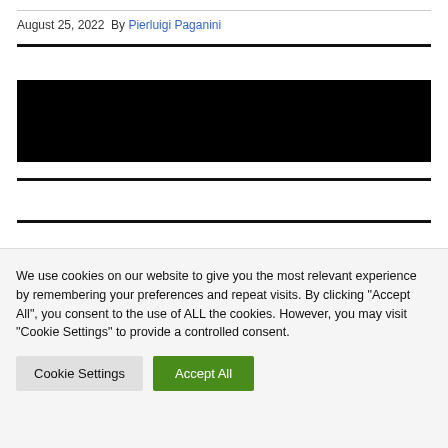August 25, 2022  By Pierluigi Paganini
[Figure (photo): Black redacted image block]
We use cookies on our website to give you the most relevant experience by remembering your preferences and repeat visits. By clicking "Accept All", you consent to the use of ALL the cookies. However, you may visit "Cookie Settings" to provide a controlled consent.